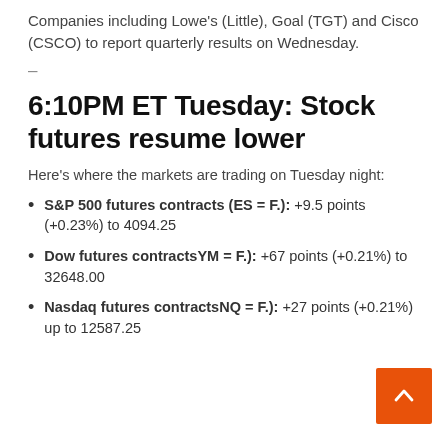Companies including Lowe's (Little), Goal (TGT) and Cisco (CSCO) to report quarterly results on Wednesday.
–
6:10PM ET Tuesday: Stock futures resume lower
Here's where the markets are trading on Tuesday night:
S&P 500 futures contracts (ES = F.): +9.5 points (+0.23%) to 4094.25
Dow futures contractsYM = F.): +67 points (+0.21%) to 32648.00
Nasdaq futures contractsNQ = F.): +27 points (+0.21%) up to 12587.25